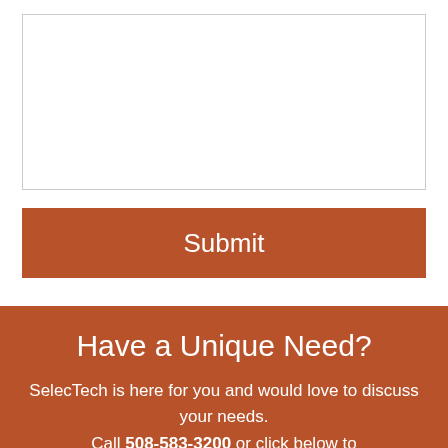[Figure (other): A white textarea input box with a light gray border]
Submit
Have a Unique Need?
SelecTech is here for you and would love to discuss your needs. Call 508-583-3200 or click below to